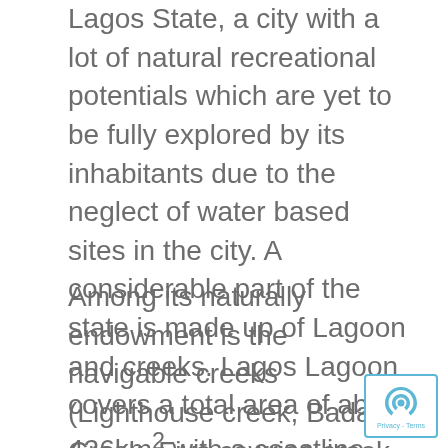Lagos State, a city with a lot of natural recreational potentials which are yet to be fully explored by its inhabitants due to the neglect of water based sites in the city. A considerable part of the state is made up of Lagoon and creeks. Lagos Lagoon covers a total area of about 426km² with a coastline and inland waterways, within average depth of about 11.6metres throughout the year with negligible or insignificant variation.
Among its naturally endowment is the navigable creeks (Lighthouse creek, Badagry Creek, Five cowries creek, Agboyi creek) and Lagoon (Ologe Lagoon, Ogun river, Lagos Lagoon, Kuramo waters) that are suitable for urban transit and most